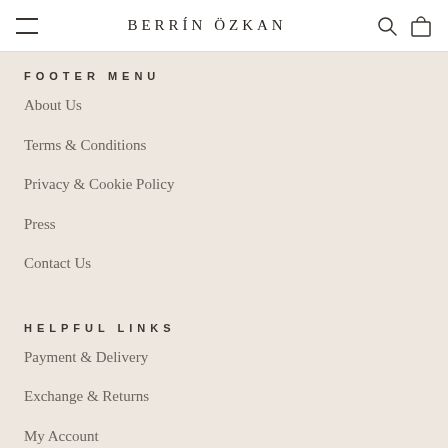BERRÍN ÖZKAN
FOOTER MENU
About Us
Terms & Conditions
Privacy & Cookie Policy
Press
Contact Us
HELPFUL LINKS
Payment & Delivery
Exchange & Returns
My Account